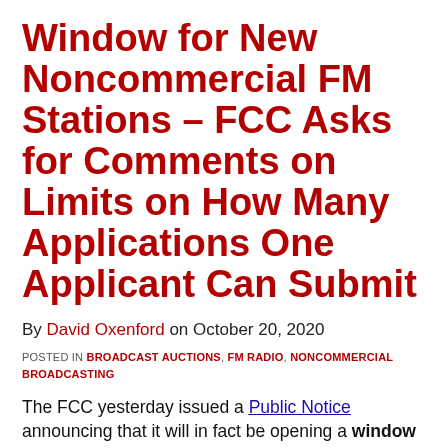Window for New Noncommercial FM Stations – FCC Asks for Comments on Limits on How Many Applications One Applicant Can Submit
By David Oxenford on October 20, 2020
POSTED IN BROADCAST AUCTIONS, FM RADIO, NONCOMMERCIAL BROADCASTING
The FCC yesterday issued a Public Notice announcing that it will in fact be opening a window for the filing of applications for new reserved-band noncommercial FM stations (those stations